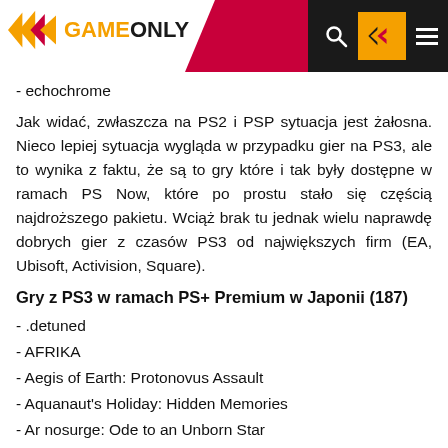GAMEONLY
- echochrome
Jak widać, zwłaszcza na PS2 i PSP sytuacja jest żałosna. Nieco lepiej sytuacja wygląda w przypadku gier na PS3, ale to wynika z faktu, że są to gry które i tak były dostępne w ramach PS Now, które po prostu stało się częścią najdroższego pakietu. Wciąż brak tu jednak wielu naprawdę dobrych gier z czasów PS3 od największych firm (EA, Ubisoft, Activision, Square).
Gry z PS3 w ramach PS+ Premium w Japonii (187)
- .detuned
- AFRIKA
- Aegis of Earth: Protonovus Assault
- Aquanaut's Holiday: Hidden Memories
- Ar nosurge: Ode to an Unborn Star
- Atelier Ayesha: The Alchemist of Dusk
- Atelier Escha & Logy: Alchemists of the Dusk Sky
- Atelier Meruru: The Apprentice of Arland